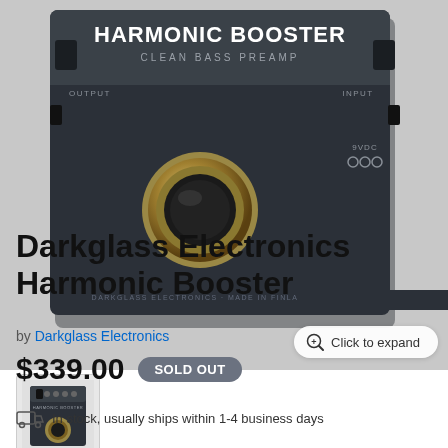[Figure (photo): Top-down view of a Darkglass Electronics Harmonic Booster Clean Bass Preamp guitar pedal in a dark metal enclosure with a gold footswitch knob, OUTPUT and INPUT labels, 9VDC power connector, and 'DARKGLASS ELECTRONICS - MADE IN FINLAND' text at bottom. A 'Click to expand' button appears in the lower right corner.]
[Figure (photo): Small thumbnail image of the Darkglass Electronics Harmonic Booster pedal showing front panel with multiple knobs.]
Darkglass Electronics Harmonic Booster
by Darkglass Electronics
$339.00  SOLD OUT
In stock, usually ships within 1-4 business days